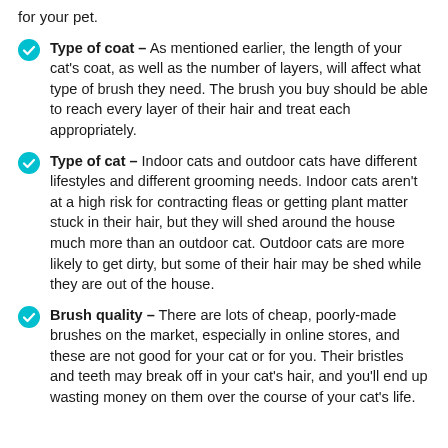for your pet.
Type of coat – As mentioned earlier, the length of your cat's coat, as well as the number of layers, will affect what type of brush they need. The brush you buy should be able to reach every layer of their hair and treat each appropriately.
Type of cat – Indoor cats and outdoor cats have different lifestyles and different grooming needs. Indoor cats aren't at a high risk for contracting fleas or getting plant matter stuck in their hair, but they will shed around the house much more than an outdoor cat. Outdoor cats are more likely to get dirty, but some of their hair may be shed while they are out of the house.
Brush quality – There are lots of cheap, poorly-made brushes on the market, especially in online stores, and these are not good for your cat or for you. Their bristles and teeth may break off in your cat's hair, and you'll end up wasting money on them over the course of your cat's life.